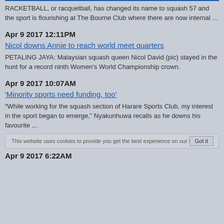RACKETBALL, or racquetball, has changed its name to squash 57 and the sport is flourishing at The Bourne Club where there are now internal ...
Apr 9 2017 12:11PM
Nicol downs Annie to reach world meet quarters
PETALING JAYA: Malaysian squash queen Nicol David (pic) stayed in the hunt for a record ninth Women's World Championship crown.
Apr 9 2017 10:07AM
'Minority sports need funding, too'
“While working for the squash section of Harare Sports Club, my interest in the sport began to emerge,” Nyakunhuwa recalls as he downs his favourite ...
This website uses cookies to provide you get the best experience on our website.
Apr 9 2017 6:22AM